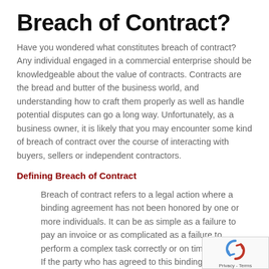Breach of Contract?
Have you wondered what constitutes breach of contract? Any individual engaged in a commercial enterprise should be knowledgeable about the value of contracts. Contracts are the bread and butter of the business world, and understanding how to craft them properly as well as handle potential disputes can go a long way. Unfortunately, as a business owner, it is likely that you may encounter some kind of breach of contract over the course of interacting with buyers, sellers or independent contractors.
Defining Breach of Contract
Breach of contract refers to a legal action where a binding agreement has not been honored by one or more individuals. It can be as simple as a failure to pay an invoice or as complicated as a failure to perform a complex task correctly or on time (or both). If the party who has agreed to this binding contract is not able to fulfill his or